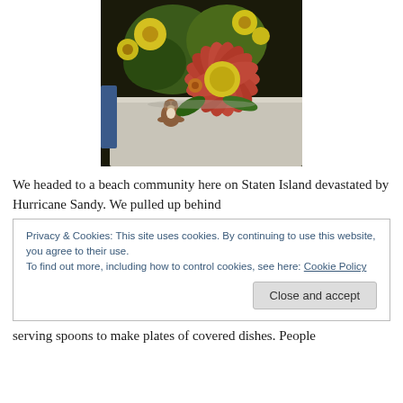[Figure (photo): A bouquet of flowers including a large pink/red daisy with a yellow center and yellow flowers, with a small ceramic teddy bear figurine sitting in front, on a white surface against a dark background.]
We headed to a beach community here on Staten Island devastated by Hurricane Sandy. We pulled up behind
Privacy & Cookies: This site uses cookies. By continuing to use this website, you agree to their use.
To find out more, including how to control cookies, see here: Cookie Policy
[Close and accept]
serving spoons to make plates of covered dishes. People